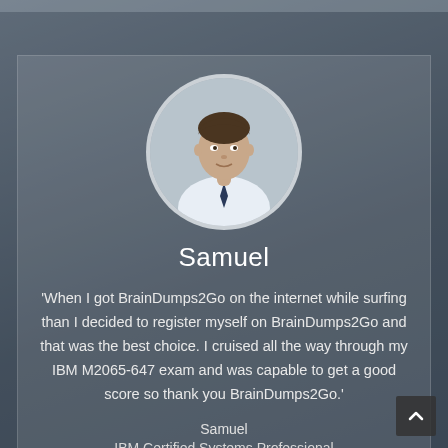[Figure (photo): Blurred background image of laptop and hands, dark overlay, used as page background]
[Figure (photo): Circular portrait photo of Samuel, a young man in white shirt and tie]
Samuel
'When I got BrainDumps2Go on the internet while surfing than I decided to register myself on BrainDumps2Go and that was the best choice. I cruised all the way through my IBM M2065-647 exam and was capable to get a good score so thank you BrainDumps2Go.'
Samuel
IBM Certified Systems Professional